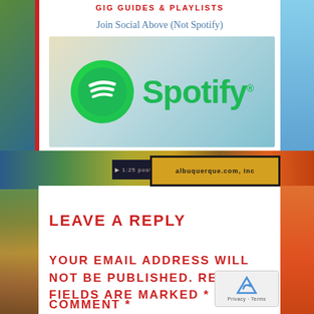GIG GUIDES & PLAYLISTS
Join Social Above (Not Spotify)
[Figure (logo): Spotify logo with green circle icon and green Spotify wordmark on a gradient beige-to-teal background]
LEAVE A REPLY
YOUR EMAIL ADDRESS WILL NOT BE PUBLISHED. REQUIRED FIELDS ARE MARKED *
COMMENT *